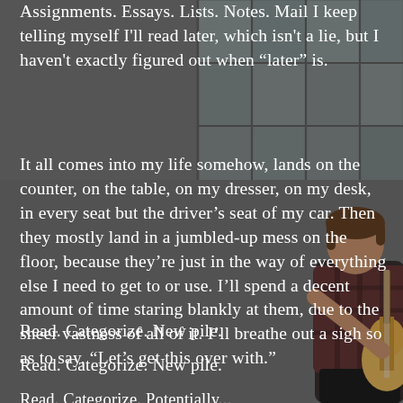[Figure (photo): Person playing guitar outdoors against a large window/building wall, wearing a plaid shirt, with medium-length hair. The background is a grey urban building facade.]
Assignments. Essays. Lists. Notes. Mail I keep telling myself I'll read later, which isn't a lie, but I haven't exactly figured out when “later” is.
It all comes into my life somehow, lands on the counter, on the table, on my dresser, on my desk, in every seat but the driver’s seat of my car. Then they mostly land in a jumbled-up mess on the floor, because they’re just in the way of everything else I need to get to or use. I’ll spend a decent amount of time staring blankly at them, due to the sheer vastness of all of it. I’ll breathe out a sigh so as to say, “Let’s get this over with.”
Read. Categorize. New pile.
Read. Categorize. New pile.
Read. Categorize. Potentially...